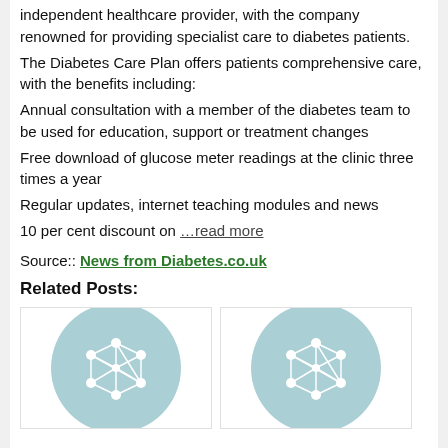independent healthcare provider, with the company renowned for providing specialist care to diabetes patients.
The Diabetes Care Plan offers patients comprehensive care, with the benefits including:
Annual consultation with a member of the diabetes team to be used for education, support or treatment changes
Free download of glucose meter readings at the clinic three times a year
Regular updates, internet teaching modules and news
10 per cent discount on …read more
Source:: News from Diabetes.co.uk
Related Posts:
[Figure (illustration): Two circular network/mesh icons with light teal background, used as placeholder images for related posts.]